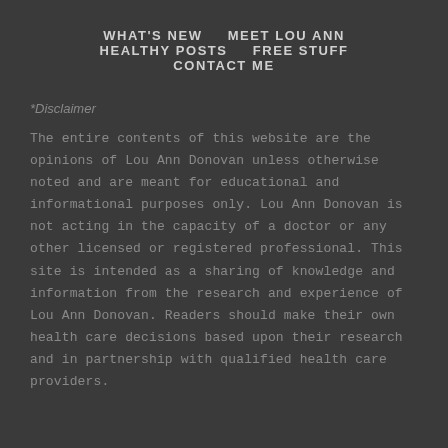WHAT'S NEW    MEET LOU ANN    HEALTHY POSTS    FREE STUFF    CONTACT ME
*Disclaimer
The entire contents of this website are the opinions of Lou Ann Donovan unless otherwise noted and are meant for educational and informational purposes only. Lou Ann Donovan is not acting in the capacity of a doctor or any other licensed or registered professional. This site is intended as a sharing of knowledge and information from the research and experience of Lou Ann Donovan. Readers should make their own health care decisions based upon their research and in partnership with qualified health care providers.